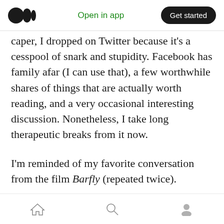Open in app | Get started
caper, I dropped on Twitter because it's a cesspool of snark and stupidity. Facebook has family afar (I can use that), a few worthwhile shares of things that are actually worth reading, and a very occasional interesting discussion. Nonetheless, I take long therapeutic breaks from it now.
I'm reminded of my favorite conversation from the film Barfly (repeated twice).
Wanda: “I hate cops, don’t you hate cops?”
Home | Search | Profile